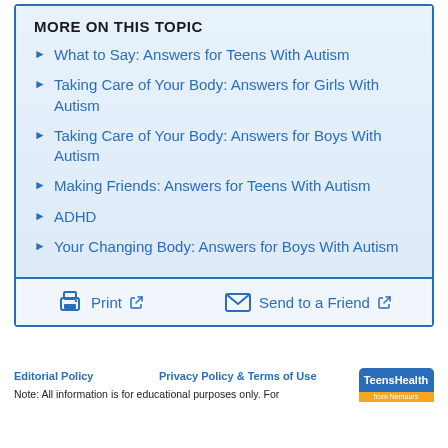MORE ON THIS TOPIC
What to Say: Answers for Teens With Autism
Taking Care of Your Body: Answers for Girls With Autism
Taking Care of Your Body: Answers for Boys With Autism
Making Friends: Answers for Teens With Autism
ADHD
Your Changing Body: Answers for Boys With Autism
Print   Send to a Friend
Editorial Policy   Privacy Policy & Terms of Use   Copyright
Note: All information is for educational purposes only. For